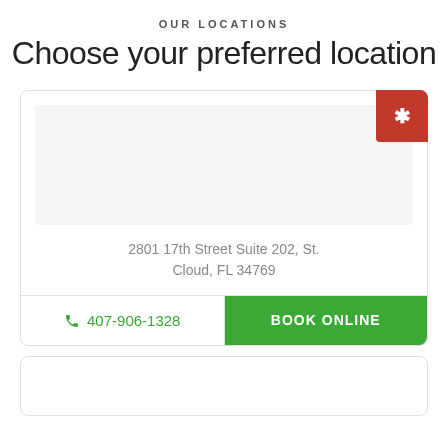OUR LOCATIONS
Choose your preferred location
2801 17th Street Suite 202, St. Cloud, FL 34769
☎ 407-906-1328
BOOK ONLINE